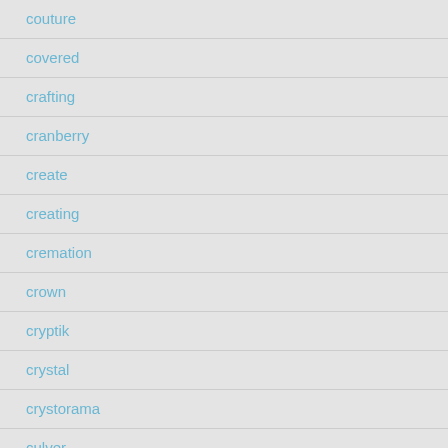couture
covered
crafting
cranberry
create
creating
cremation
crown
cryptik
crystal
crystorama
culver
custom